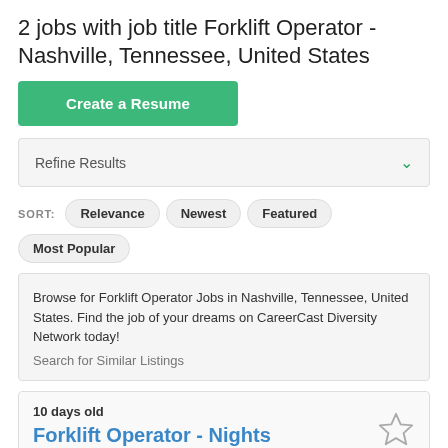2 jobs with job title Forklift Operator - Nashville, Tennessee, United States
Create a Resume
Refine Results
SORT: Relevance Newest Featured Most Popular
Browse for Forklift Operator Jobs in Nashville, Tennessee, United States. Find the job of your dreams on CareerCast Diversity Network today!
Search for Similar Listings
10 days old
Forklift Operator - Nights
PepsiCo Inc.